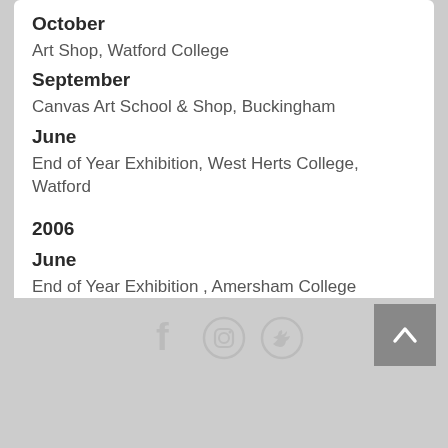October
Art Shop, Watford College
September
Canvas Art School & Shop, Buckingham
June
End of Year Exhibition, West Herts College, Watford
2006
June
End of Year Exhibition , Amersham College
[Figure (infographic): Social media icons: Facebook, Instagram, Twitter]
[Figure (infographic): Back to top button with upward chevron arrow]